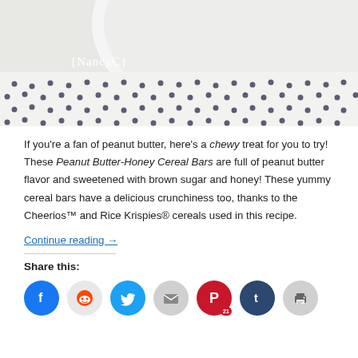[Figure (photo): Close-up photo of a white bowl and a polka-dot patterned fabric or napkin, with a {NancyC} watermark/logo in white text overlaid on the image.]
If you're a fan of peanut butter, here's a chewy treat for you to try! These Peanut Butter-Honey Cereal Bars are full of peanut butter flavor and sweetened with brown sugar and honey! These yummy cereal bars have a delicious crunchiness too, thanks to the Cheerios™ and Rice Krispies® cereals used in this recipe.
Continue reading →
Share this: